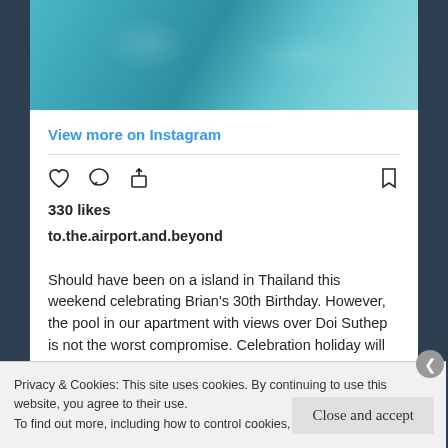[Figure (photo): Top portion of a swimming pool with teal/turquoise water and tiled edges, partially cropped]
View more on Instagram
[Figure (infographic): Instagram action icons: heart (like), comment bubble, share arrow, and bookmark]
330 likes
to.the.airport.and.beyond
Should have been on a island in Thailand this weekend celebrating Brian's 30th Birthday. However, the pool in our apartment with views over Doi Suthep is not the worst compromise. Celebration holiday will have to wait another little while.
.
Privacy & Cookies: This site uses cookies. By continuing to use this website, you agree to their use.
To find out more, including how to control cookies, see here: Cookie Policy
Close and accept